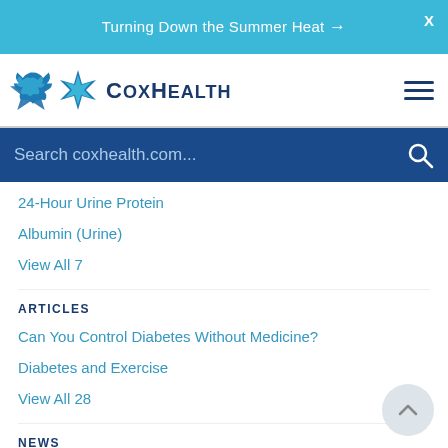Turning Down the Summer Heat →  X
[Figure (logo): CoxHealth logo with blue four-pointed star and text 'CoxHealth']
Search coxhealth.com...
24-Hour Urine Protein
Albumin (Urine)
View All 7
ARTICLES
Can You Control Diabetes Without Medicine?
Diabetes and Exercise
View All 28
NEWS
¿La estación lo tiene triste? Hay formas de aliviar la depresión